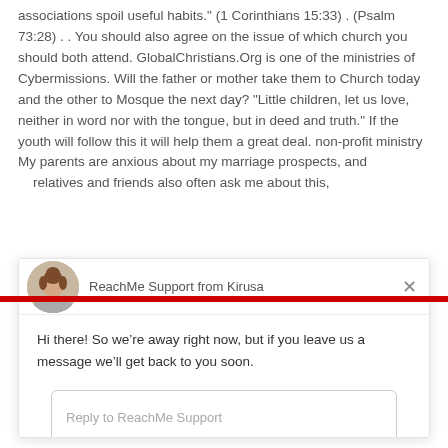associations spoil useful habits." (1 Corinthians 15:33) . (Psalm 73:28) . . You should also agree on the issue of which church you should both attend. GlobalChristians.Org is one of the ministries of Cybermissions. Will the father or mother take them to Church today and the other to Mosque the next day? "Little children, let us love, neither in word nor with the tongue, but in deed and truth." If the youth will follow this it will help them a great deal. non-profit ministry My parents are anxious about my marriage prospects, and relatives and friends also often ask me about this,
ReachMe Support from Kirusa
Hi there! So we’re away right now, but if you leave us a message we’ll get back to you soon.
Reply to ReachMe Support
Chat ⚡ by Drift